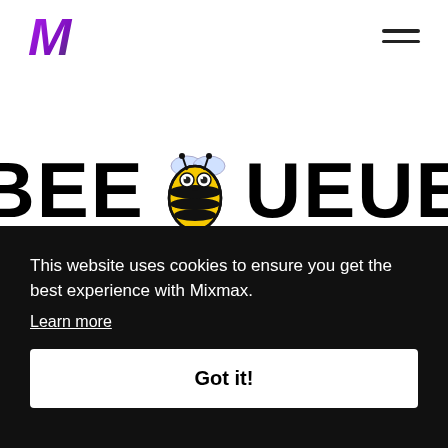[Figure (logo): Mixmax logo mark - stylized M in purple/violet italic bold font]
[Figure (other): Hamburger menu icon - three horizontal dark lines]
BEE QUEUE
This website uses cookies to ensure you get the best experience with Mixmax.
Learn more
Got it!